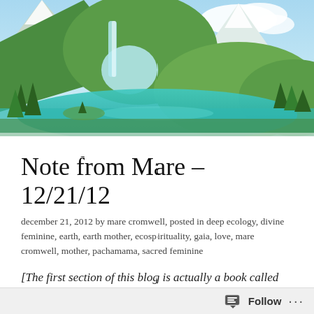[Figure (illustration): Fantasy landscape illustration showing green mountains, waterfall, turquoise river/lake, lush trees, and snowy peaks in the background with blue sky and clouds]
Note from Mare – 12/21/12
december 21, 2012 by mare cromwell, posted in deep ecology, divine feminine, earth, earth mother, ecospirituality, gaia, love, mare cromwell, mother, pachamama, sacred feminine
[The first section of this blog is actually a book called Messages from Mother.... Earth Mother released at the end of October, 2012. You can read all of the Messages here or purchase the book with the first thirteen Messages at this page. It is also available as a
Follow ...